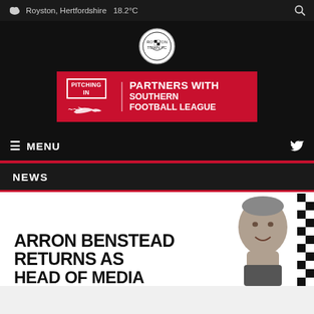Royston, Hertfordshire  18.2°C
[Figure (logo): Royston Town FC circular badge logo in black and white]
[Figure (infographic): Pitching In Partners with Southern Football League red banner with logo]
≡ MENU
NEWS
ARRON BENSTEAD RETURNS AS HEAD OF MEDIA...
[Figure (photo): Man (Arron Benstead) smiling, photographed against a checkered black and white background]